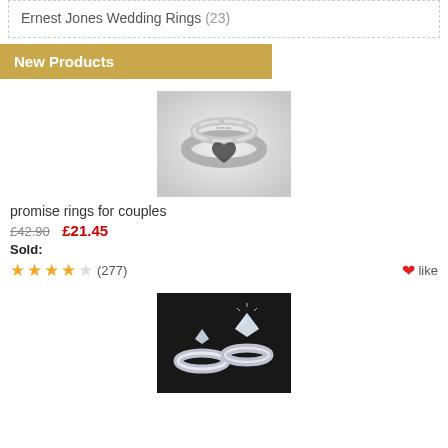Ernest Jones Wedding Rings (23)
New Products
[Figure (photo): Two silver promise rings, one with a black heart design and engraving on the inner band, set against a light grey background]
promise rings for couples
£42.90  £21.45
Sold:
(277)  like
[Figure (photo): Two silver diamond engagement rings displayed on a dark black background, featuring sparkling gemstones]